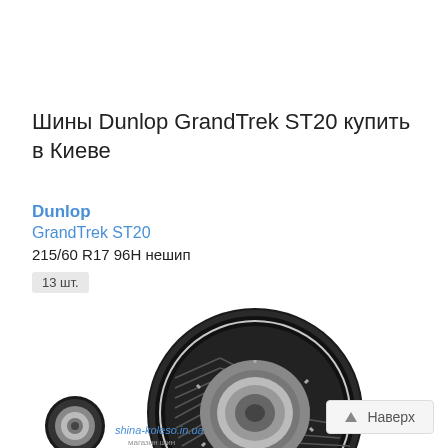Шины Dunlop GrandTrek ST20 купить в Киеве
Dunlop
GrandTrek ST20
215/60 R17 96H нешип
13 шт.
[Figure (photo): Photo of Dunlop GrandTrek ST20 tire with a small wheel icon and watermark shina-koleso.in.ua]
Наверх